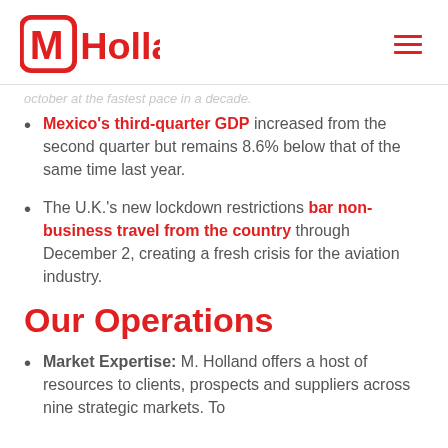MHolland
october at the fastest pace in a decade.
Mexico's third-quarter GDP increased from the second quarter but remains 8.6% below that of the same time last year.
The U.K.'s new lockdown restrictions bar non-business travel from the country through December 2, creating a fresh crisis for the aviation industry.
Our Operations
Market Expertise: M. Holland offers a host of resources to clients, prospects and suppliers across nine strategic markets. To